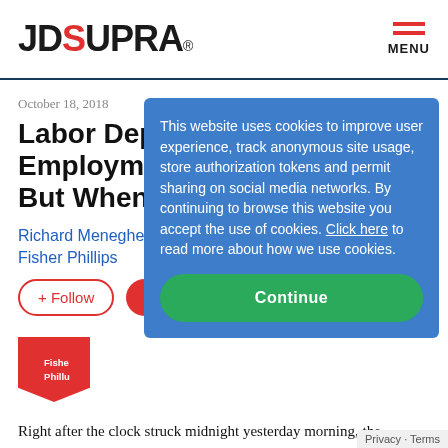JD SUPRA® — MENU
October 18, 2018
Labor Department Employment And O... But When?
Richard Meneghello
Fisher Phillips
[Figure (screenshot): Cookie consent overlay dialog on JD Supra website. Blue background box reading: 'This website uses cookies to improve user experience, track anonymous site usage, store authorization tokens and permit sharing on social media networks. By continuing to browse this website you accept the use of cookies. Click here to read more about how we use cookies.' with a green Continue button.]
Right after the clock struck midnight yesterday morning, the